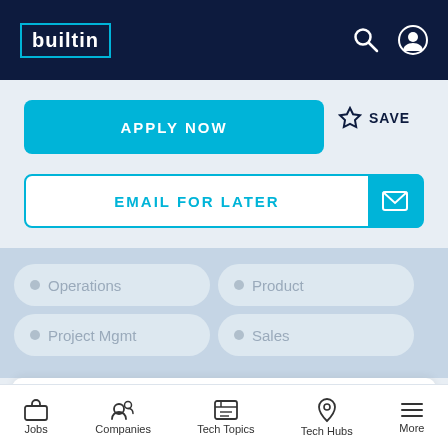builtin
APPLY NOW
SAVE
EMAIL FOR LATER
Operations
Product
Project Mgmt
Sales
Sr. Backend Software Engineer
FLATFILE
REMOTE
Jobs  Companies  Tech Topics  Tech Hubs  More